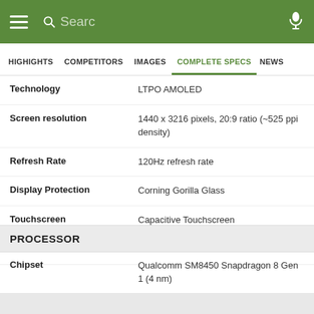[Figure (screenshot): Mobile app top navigation bar with green background, hamburger menu, search bar, and microphone icon]
HIGHLIGHTS  COMPETITORS  IMAGES  COMPLETE SPECS  NEWS
| Spec | Value |
| --- | --- |
| Technology | LTPO AMOLED |
| Screen resolution | 1440 x 3216 pixels, 20:9 ratio (~525 ppi density) |
| Refresh Rate | 120Hz refresh rate |
| Display Protection | Corning Gorilla Glass |
| Touchscreen | Capacitive Touchscreen |
| Form Factor | Touch |
PROCESSOR
| Spec | Value |
| --- | --- |
| Chipset | Qualcomm SM8450 Snapdragon 8 Gen 1 (4 nm) |
| CPU | Octa-core (1x3.00 GHz Cortex-X2 & 3x2.50 GHz Cortex-A710 & 4x1.80 GHz Cortex- |